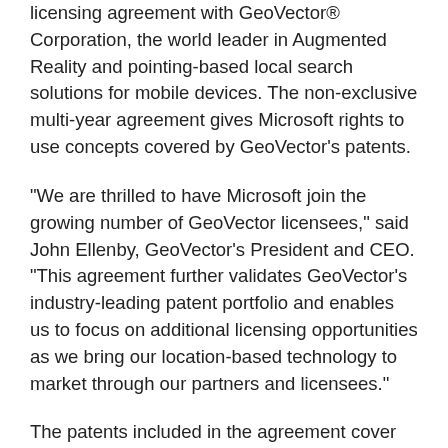licensing agreement with GeoVector® Corporation, the world leader in Augmented Reality and pointing-based local search solutions for mobile devices. The non-exclusive multi-year agreement gives Microsoft rights to use concepts covered by GeoVector's patents.
“We are thrilled to have Microsoft join the growing number of GeoVector licensees,” said John Ellenby, GeoVector’s President and CEO. “This agreement further validates GeoVector’s industry-leading patent portfolio and enables us to focus on additional licensing opportunities as we bring our location-based technology to market through our partners and licensees.”
The patents included in the agreement cover Augmented Reality, pointing-based local search and